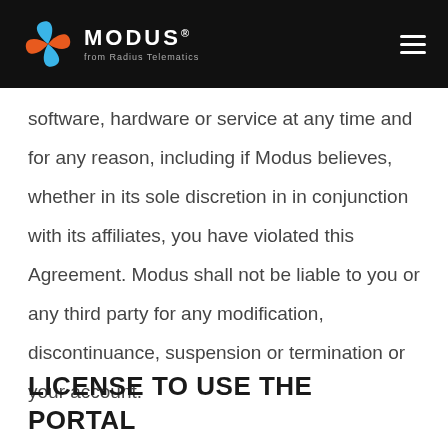MODUS® from Radius Telematics
software, hardware or service at any time and for any reason, including if Modus believes, whether in its sole discretion in in conjunction with its affiliates, you have violated this Agreement. Modus shall not be liable to you or any third party for any modification, discontinuance, suspension or termination or your account.
LICENSE TO USE THE PORTAL